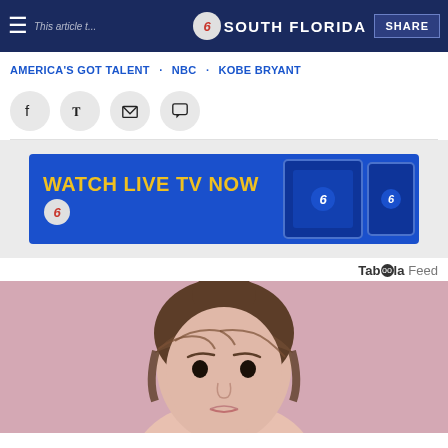NBC 6 South Florida — This article that...
AMERICA'S GOT TALENT · NBC · KOBE BRYANT
[Figure (screenshot): Social sharing icons: Facebook, Twitter, Email, Comment buttons]
[Figure (infographic): Advertisement banner: WATCH LIVE TV NOW with NBC 6 logo and device images (tablet and phone)]
Taboola Feed
[Figure (photo): A woman with brown hair and bangs looking at the camera against a pink background]